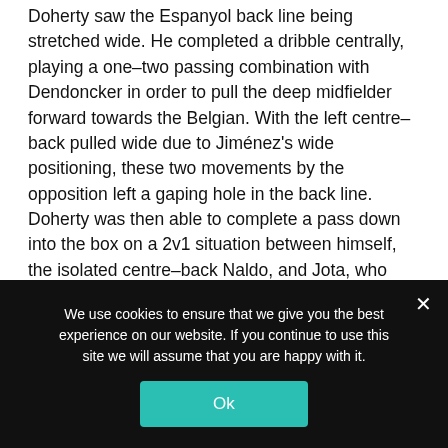Doherty saw the Espanyol back line being stretched wide. He completed a dribble centrally, playing a one-two passing combination with Dendoncker in order to pull the deep midfielder forward towards the Belgian. With the left centre-back pulled wide due to Jiménez's wide positioning, these two movements by the opposition left a gaping hole in the back line. Doherty was then able to complete a pass down into the box on a 2v1 situation between himself, the isolated centre-back Naldo, and Jota, who would score his second of three goals this match on this play.
We use cookies to ensure that we give you the best experience on our website. If you continue to use this site we will assume that you are happy with it.